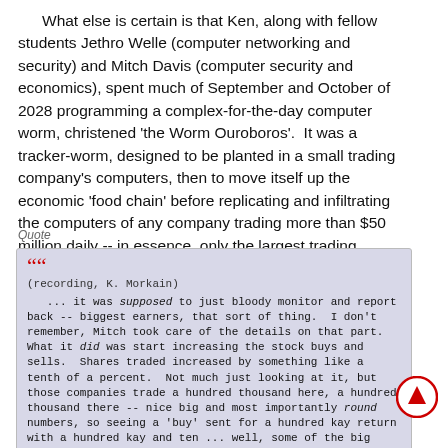What else is certain is that Ken, along with fellow students Jethro Welle (computer networking and security) and Mitch Davis (computer security and economics), spent much of September and October of 2028 programming a complex-for-the-day computer worm, christened 'the Worm Ouroboros'. It was a tracker-worm, designed to be planted in a small trading company's computers, then to move itself up the economic 'food chain' before replicating and infiltrating the computers of any company trading more than $50 million daily -- in essence, only the largest trading companies. Once there ...
Quote
(recording, K. Morkain)
... it was supposed to just bloody monitor and report back -- biggest earners, that sort of thing. I don't remember, Mitch took care of the details on that part. What it did was start increasing the stock buys and sells. Shares traded increased by something like a tenth of a percent. Not much just looking at it, but those companies trade a hundred thousand here, a hundred thousand there -- nice big and most importantly round numbers, so seeing a 'buy' sent for a hundred kay return with a hundred kay and ten ... well, some of the big houses halted their electronic trading for a couple of days in mid-December.